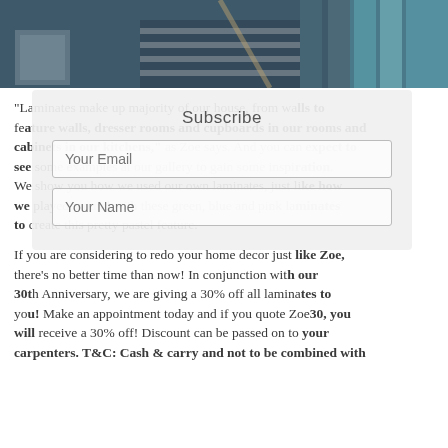[Figure (photo): Person in striped shirt photographed from torso up, against a teal/blue striped background]
“Laminates make up majority of our house, from walls to feature walls, dresser rooms and cupboards in our rooms and cabinets in our kitchens,” as Zoe says. And you can expect to see some examples at our gallery to gain some inspiration. We show you how we used our own laminates, just like how we played around with these green, blue and pink laminates to create this pretty pastel feature.
If you are considering to redo your home decor just like Zoe, there’s no better time than now! In conjunction with our 30th Anniversary, we are giving a 30% off all laminates to you! Make an appointment today and if you quote Zoe30, you will receive a 30% off! Discount can be passed on to your carpenters. T&C: Cash & carry and not to be combined with
[Figure (screenshot): Subscribe popup overlay with title 'Subscribe', an email input field labeled 'Your Email', and a name input field labeled 'Your Name']